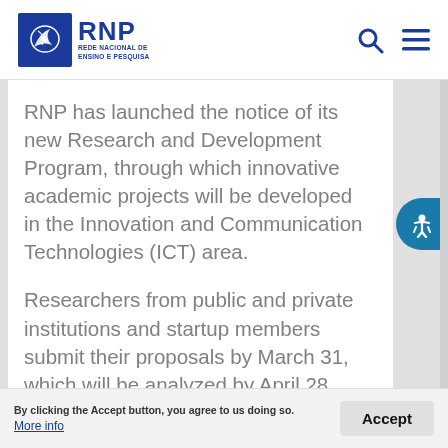RNP - REDE NACIONAL DE ENSINO E PESQUISA
RNP has launched the notice of its new Research and Development Program, through which innovative academic projects will be developed in the Innovation and Communication Technologies (ICT) area.
Researchers from public and private institutions and startup members submit their proposals by March 31, which will be analyzed by April 28, where the projects will be evaluated and any questions will be
By clicking the Accept button, you agree to us doing so. More info  Accept